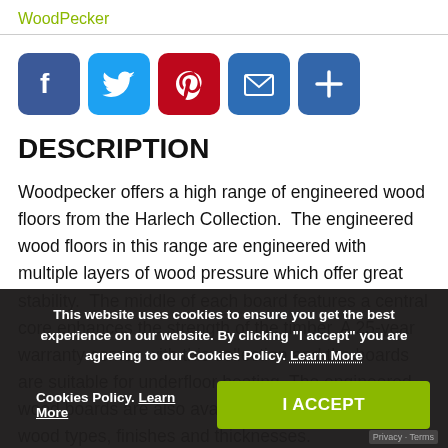WoodPecker
[Figure (infographic): Row of social sharing icon buttons: Facebook (blue), Twitter (light blue), Pinterest (red), Email (blue), Share/Plus (blue)]
DESCRIPTION
Woodpecker offers a high range of engineered wood floors from the Harlech Collection. The engineered wood floors in this range are engineered with multiple layers of wood pressure which offer great stability. The middle of each board features a central core enhances the strength of the timber. A 25-year warranty comes with this collection and the boards are suitable for underfloor heating. The engineered wood boards are also available in a wide range of wood types, finishes and thicknesses.
This website uses cookies to ensure you get the best experience on our website. By clicking "I accept" you are agreeing to our Cookies Policy. Learn More | I ACCEPT
Privacy · Terms